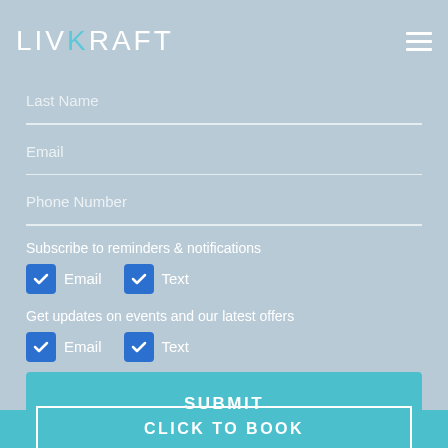LIVKRAFT
Last Name
Email
Phone Number
Subscribe to reminders & notifications
Email   Text
Get updates on events and our latest offers
Email   Text
SUBMIT
CLICK TO BOOK